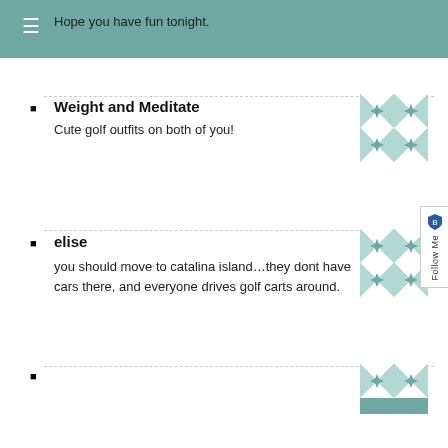≡
Hope you have fun tonight.
Weight and Meditate
Cute golf outfits on both of you!
elise
you should move to catalina island…they dont have cars there, and everyone drives golf carts around.